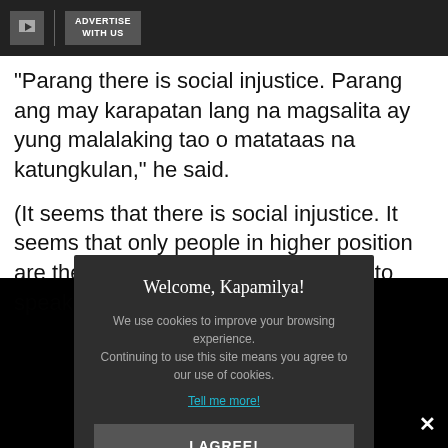ADVERTISE WITH US
"Parang there is social injustice. Parang ang may karapatan lang na magsalita ay yung malalaking tao o matataas na katungkulan," he said.
(It seems that there is social injustice. It seems that only people in higher position are the only ones who have the right to speak.)
Welcome, Kapamilya!
We use cookies to improve your browsing experience. Continuing to use this site means you agree to our use of cookies.
Tell me more!
I AGREE!